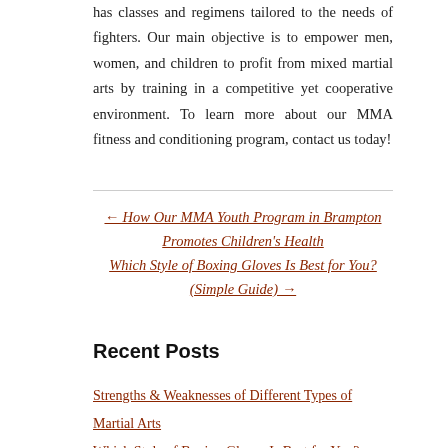has classes and regimens tailored to the needs of fighters. Our main objective is to empower men, women, and children to profit from mixed martial arts by training in a competitive yet cooperative environment. To learn more about our MMA fitness and conditioning program, contact us today!
← How Our MMA Youth Program in Brampton Promotes Children's Health
Which Style of Boxing Gloves Is Best for You? (Simple Guide) →
Recent Posts
Strengths & Weaknesses of Different Types of Martial Arts
Which Style of Boxing Gloves Is Best for You? (Simple Guide)